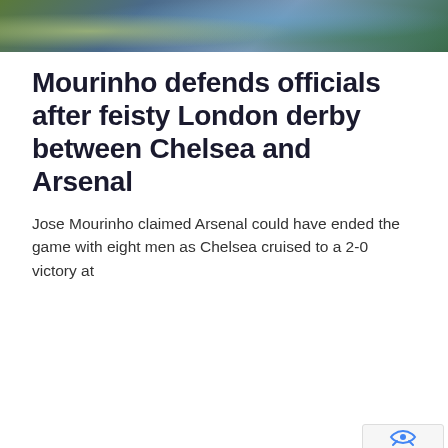[Figure (photo): Sports photo strip at top of page showing football/soccer players]
Mourinho defends officials after feisty London derby between Chelsea and Arsenal
Jose Mourinho claimed Arsenal could have ended the game with eight men as Chelsea cruised to a 2-0 victory at
[Figure (infographic): Advertisement for School of Journalism. Orange background with text: UNPRECEDENTED RESULTS, UNRIVALLED OPPORTUNITIES, UNBELIEVABLE PORTFOLIO. A multimedia journalism degree with the number one provider in the UK. www.schoolofjournalism.co.uk. Features photo of smiling woman holding books.]